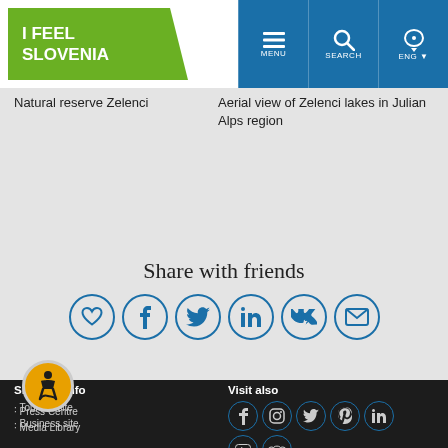[Figure (screenshot): I Feel Slovenia website header with green logo and blue navigation bar with MENU, SEARCH, ENG buttons]
Natural reserve Zelenci
Aerial view of Zelenci lakes in Julian Alps region
Share with friends
[Figure (infographic): Social sharing icons: heart, Facebook, Twitter, LinkedIn, VK, email — all in blue circle outlines]
Slovenia.info
Tourism site
Business site
Press Centre
Media Library
Visit also
[Figure (infographic): Social media icons in teal circles: Facebook, Instagram, Twitter, Pinterest, LinkedIn, YouTube, TripAdvisor]